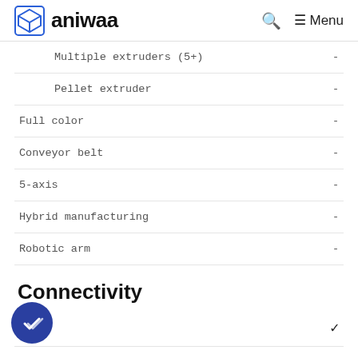aniwaa  Menu
| Feature | Value |
| --- | --- |
| Multiple extruders (5+) | - |
| Pellet extruder | - |
| Full color | - |
| Conveyor belt | - |
| 5-axis | - |
| Hybrid manufacturing | - |
| Robotic arm | - |
Connectivity
| Feature | Value |
| --- | --- |
| USB | ✓ |